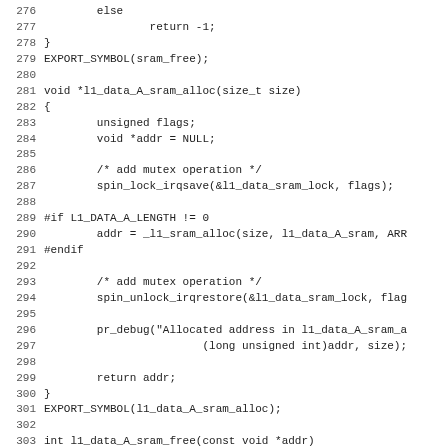Code listing lines 276-307 showing C source code for sram allocation functions